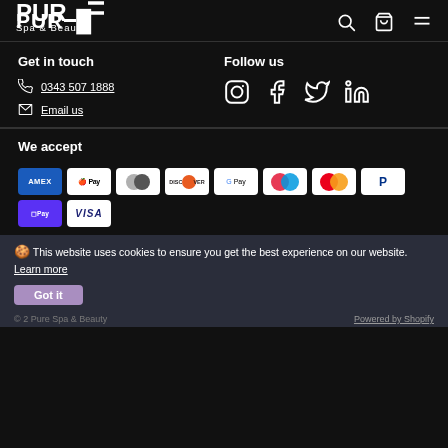PURE Spa & Beauty
Get in touch
0343 507 1888
Email us
Follow us
[Figure (infographic): Social media icons: Instagram, Facebook, Twitter, LinkedIn]
We accept
[Figure (infographic): Payment method logos: AMEX, Apple Pay, Diners Club, Discover, Google Pay, Maestro, Mastercard, PayPal, Shop Pay, Visa]
🍪 This website uses cookies to ensure you get the best experience on our website. Learn more
Got it
© 2 Pure Spa & Beauty   Powered by Shopify